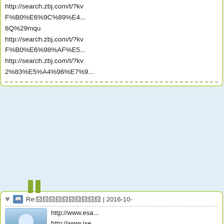http://search.zbj.com/t/?kv...F%B0%E6%9C%89%E4...8Q%29mqu http://search.zbj.com/t/?kv...F%B0%E6%98%AF%E5... http://search.zbj.com/t/?kv...2%83%E5%A4%96%E7%9...
Re:囧囧囧囧囧囧囧囧囧囧 | 2016-10...
[Figure (illustration): User avatar icon: blue gradient background with white silhouette of a person (head circle and body/shoulders shape)]
http://www.esa... http://www.jxe... http://www.jxe... http://ei0ug68aemq0.yupo... http://www.jxedt.com/wen... http://www.jxedt.com/wen... http://www.jxedt.com/wen... http://www.jxedt.com/wen... http://n3dh7tx1j9vzhl.yup... http://www.jxedt.com/wen...